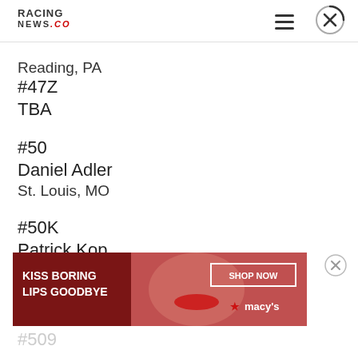RACING NEWS.CO
Reading, PA
#47Z
TBA
#50
Daniel Adler
St. Louis, MO
#50K
Patrick Kop
Kalua, HI
[Figure (other): Macy's advertisement banner: 'KISS BORING LIPS GOODBYE' with SHOP NOW button and Macy's star logo, featuring a woman's face]
#509
Partial entry (cut off)